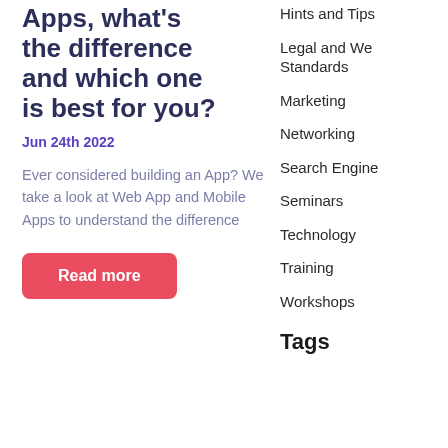Apps, what's the difference and which one is best for you?
Jun 24th 2022
Ever considered building an App? We take a look at Web App and Mobile Apps to understand the difference
Read more
Hints and Tips
Legal and Web Standards
Marketing
Networking
Search Engine
Seminars
Technology
Training
Workshops
Tags